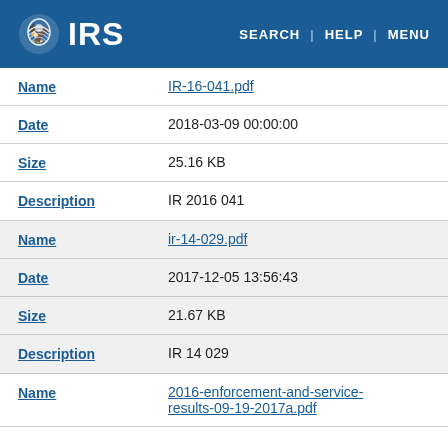IRS — SEARCH | HELP | MENU
| Field | Value |
| --- | --- |
| Name | IR-16-041.pdf |
| Date | 2018-03-09 00:00:00 |
| Size | 25.16 KB |
| Description | IR 2016 041 |
| Name | ir-14-029.pdf |
| Date | 2017-12-05 13:56:43 |
| Size | 21.67 KB |
| Description | IR 14 029 |
| Name | 2016-enforcement-and-service-results-09-19-2017a.pdf |